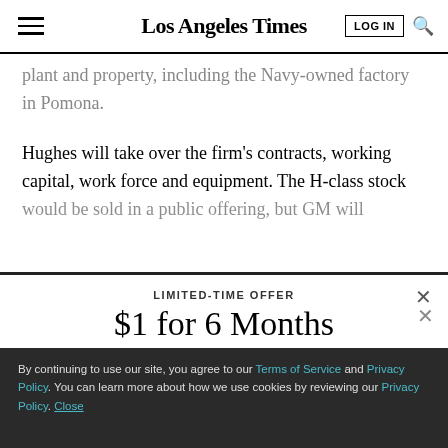Los Angeles Times
plant and property, including the Navy-owned factory in Pomona.
Hughes will take over the firm's contracts, working capital, work force and equipment. The H-class stock would be sold in a public offering, but GM will
LIMITED-TIME OFFER
$1 for 6 Months
SUBSCRIBE NOW
By continuing to use our site, you agree to our Terms of Service and Privacy Policy. You can learn more about how we use cookies by reviewing our Privacy Policy. Close